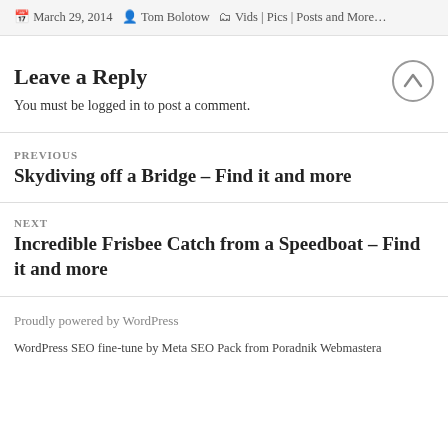March 29, 2014  Tom Bolotow  Vids | Pics | Posts and More…
Leave a Reply
You must be logged in to post a comment.
PREVIOUS
Skydiving off a Bridge – Find it and more
NEXT
Incredible Frisbee Catch from a Speedboat – Find it and more
Proudly powered by WordPress
WordPress SEO fine-tune by Meta SEO Pack from Poradnik Webmastera